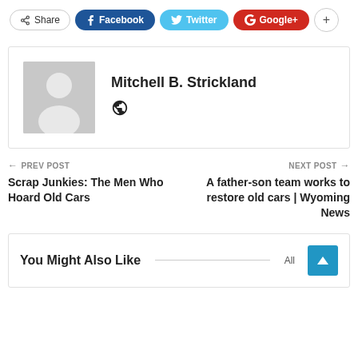[Figure (infographic): Social share bar with Share, Facebook, Twitter, Google+, and + buttons]
[Figure (infographic): Author box showing a grey placeholder avatar and the name Mitchell B. Strickland with a globe icon]
Mitchell B. Strickland
← PREV POST
Scrap Junkies: The Men Who Hoard Old Cars
NEXT POST →
A father-son team works to restore old cars | Wyoming News
You Might Also Like   All